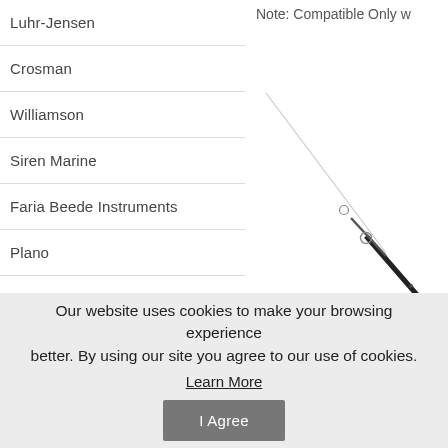Note: Compatible Only w
Luhr-Jensen
Crosman
Williamson
Siren Marine
Faria Beede Instruments
Plano
Lowrance
[Figure (photo): A fishing rod shown diagonally, black handle with white/silver rod body and small guides, extending from lower-right to upper-left against a white background.]
Our website uses cookies to make your browsing experience better. By using our site you agree to our use of cookies. Learn More
I Agree